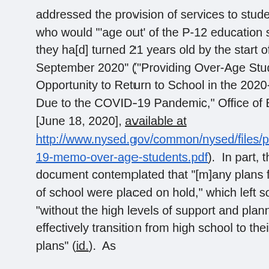addressed the provision of services to students with disabilities who would "'age out' of the P-12 education system because they ha[d] turned 21 years old by the start of the school year in September 2020" ("Providing Over-Age Students the Opportunity to Return to School in the 2020-21 School Year Due to the COVID-19 Pandemic," Office of Educ. Policy Mem. [June 18, 2020], available at http://www.nysed.gov/common/nysed/files/programs/coronavirus/covid-19-memo-over-age-students.pdf).  In part, the guidance document contemplated that "[m]any plans for the final quarter of school were placed on hold," which left some students "without the high levels of support and planning they needed to effectively transition from high school to their postsecondary plans" (id.).  As